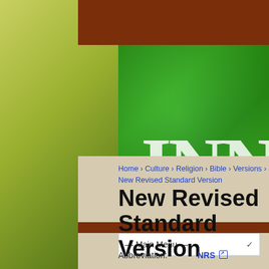[Figure (screenshot): Website header with brown background bar, green leaf/water droplet banner image with large white letters 'INN' visible, and a wheat field background image on the left side.]
— Main Menu —
Home › Culture › Religion › Bible › Versions › New Revised Standard Version
New Revised Standard Version
Abbreviation:  NRS